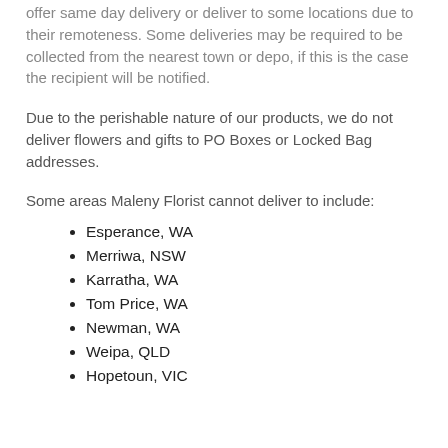offer same day delivery or deliver to some locations due to their remoteness. Some deliveries may be required to be collected from the nearest town or depo, if this is the case the recipient will be notified.
Due to the perishable nature of our products, we do not deliver flowers and gifts to PO Boxes or Locked Bag addresses.
Some areas Maleny Florist cannot deliver to include:
Esperance, WA
Merriwa, NSW
Karratha, WA
Tom Price, WA
Newman, WA
Weipa, QLD
Hopetoun, VIC